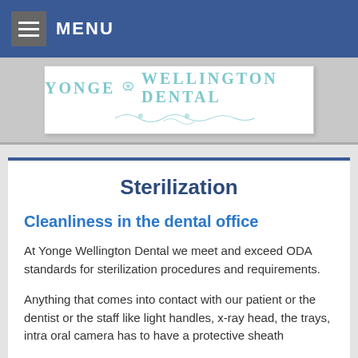MENU
[Figure (logo): Yonge Wellington Dental logo with butterfly and decorative swirl design]
Sterilization
Cleanliness in the dental office
At Yonge Wellington Dental we meet and exceed ODA standards for sterilization procedures and requirements.
Anything that comes into contact with our patient or the dentist or the staff like light handles, x-ray head, the trays, intra oral camera has to have a protective sheath